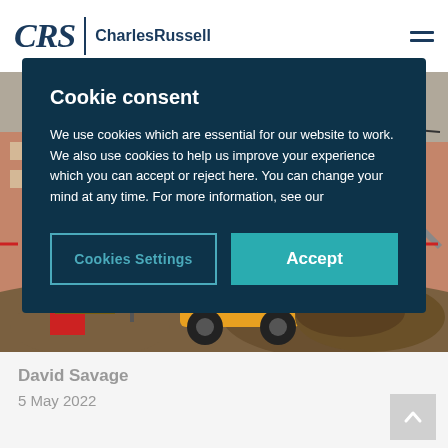CRS | CharlesRussell
[Figure (photo): Construction site photo showing yellow dump truck, excavator, scaffolding, brick buildings, and piles of dirt]
Cookie consent
We use cookies which are essential for our website to work. We also use cookies to help us improve your experience which you can accept or reject here. You can change your mind at any time. For more information, see our
Cookies Settings
Accept
David Savage
5 May 2022